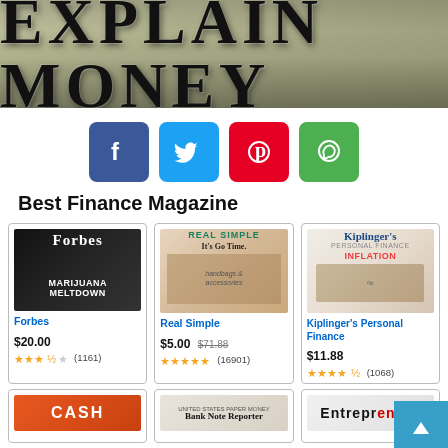[Figure (logo): Explain Money banner/logo header with distressed serif text on olive/khaki background]
[Figure (infographic): Social media share buttons: Facebook (blue), Twitter (cyan), Pinterest (red), WhatsApp (green)]
Best Finance Magazine
[Figure (photo): Forbes magazine cover showing a man's face with text 'MARIJUANA MELTDOWN']
Forbes
$20.00
3.5 stars (1161)
[Figure (photo): Real Simple magazine cover with text 'It's Go Time.']
Real Simple
$5.00  $71.88
5 stars (16901)
[Figure (photo): Kiplinger's Personal Finance magazine cover with INFLATION theme and shopping bag]
Kiplinger's Personal Finance
$11.88
4.5 stars (1068)
[Figure (photo): Cash magazine cover partial view at bottom]
[Figure (photo): Bank Note Reporter magazine cover partial view at bottom]
[Figure (photo): Entrepreneur magazine cover partial view at bottom]